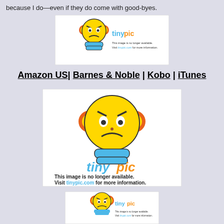because I do—even if they do come with good-byes.
[Figure (illustration): Tinypic placeholder image: angry yellow smiley face with orange ears and blue hands, with 'tinypic' logo and text 'This image is no longer available. Visit tinypic.com for more information.']
Amazon US| Barnes & Noble | Kobo | iTunes
[Figure (illustration): Tinypic placeholder image (larger): angry yellow smiley face with orange ears and blue hands, with 'tinypic' logo and text 'This image is no longer available. Visit tinypic.com for more information.']
[Figure (illustration): Tinypic placeholder image (smaller): angry yellow smiley face with orange ears and blue hands, with 'tinypic' logo and text 'This image is no longer available. Visit tinypic.com for more information.']